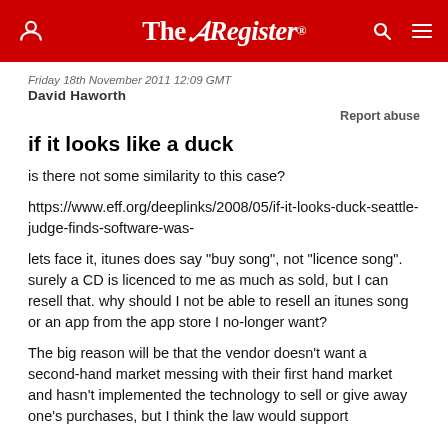The Register
Friday 18th November 2011 12:09 GMT
David Haworth
Report abuse
if it looks like a duck
is there not some similarity to this case?
https://www.eff.org/deeplinks/2008/05/if-it-looks-duck-seattle-judge-finds-software-was-
lets face it, itunes does say "buy song", not "licence song". surely a CD is licenced to me as much as sold, but I can resell that. why should I not be able to resell an itunes song or an app from the app store I no-longer want?
The big reason will be that the vendor doesn't want a second-hand market messing with their first hand market and hasn't implemented the technology to sell or give away one's purchases, but I think the law would support